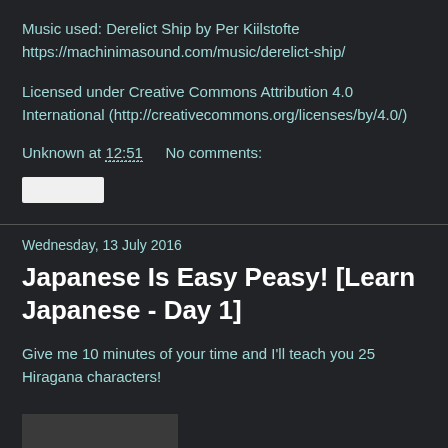Music used: Derelict Ship by Per Kiilstofte https://machinimasound.com/music/derelict-ship/
Licensed under Creative Commons Attribution 4.0 International (http://creativecommons.org/licenses/by/4.0/)
Unknown at 12:51    No comments:
Wednesday, 13 July 2016
Japanese Is Easy Peasy! [Learn Japanese - Day 1]
Give me 10 minutes of your time and I'll teach you 25 Hiragana characters!
[Figure (photo): Partial thumbnail image at bottom of page]